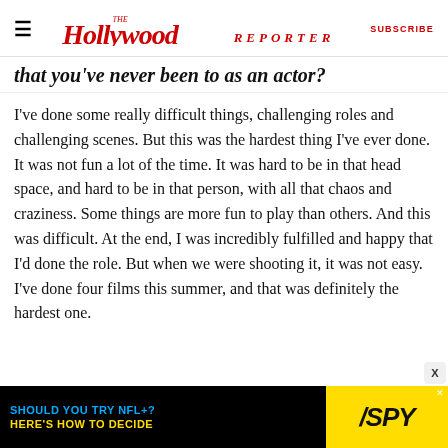The Hollywood Reporter | SUBSCRIBE
that you've never been to as an actor?
I've done some really difficult things, challenging roles and challenging scenes. But this was the hardest thing I've ever done. It was not fun a lot of the time. It was hard to be in that head space, and hard to be in that person, with all that chaos and craziness. Some things are more fun to play than others. And this was difficult. At the end, I was incredibly fulfilled and happy that I'd done the role. But when we were shooting it, it was not easy. I've done four films this summer, and that was definitely the hardest one.
[Figure (infographic): Advertisement banner: 'SHOULD YOU TRY NFL+? HERE'S HOW TO DECIDE' with SPY logo on yellow background]